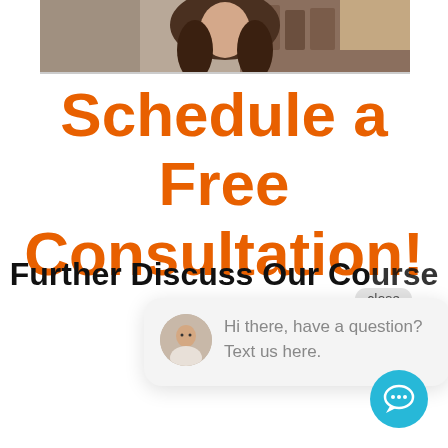[Figure (photo): Photo of a woman with long brown wavy hair sitting in front of a desk/bookshelf background, cropped at the top of the page]
Schedule a Free Consultation!
Further Discuss Our Course
close
Hi there, have a question? Text us here.